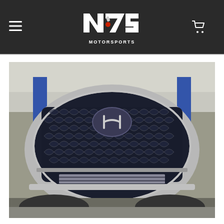N75 Motorsports - Navigation Header
[Figure (logo): N75 Motorsports logo in white on dark background with red accent, showing stylized N75 letters and an impact wrench graphic above the word MOTORSPORTS]
[Figure (photo): Close-up front view of a Hyundai vehicle front grille (diamond/scale pattern in dark blue/black) with silver/chrome surround and Hyundai H badge in center, lower front bumper visible, car raised on shop lift with blue shop equipment in background]